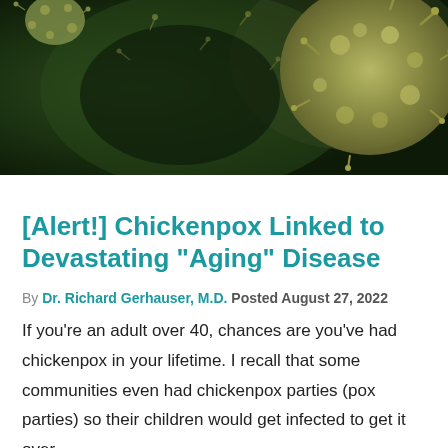[Figure (photo): Macro microscope image of green/yellow virus particles on a dark green background, showing textured spherical virus with spike proteins.]
[Alert!] Chickenpox Linked to Devastating “Aging” Disease
By Dr. Richard Gerhauser, M.D. Posted August 27, 2022
If you’re an adult over 40, chances are you’ve had chickenpox in your lifetime. I recall that some communities even had chickenpox parties (pox parties) so their children would get infected to get it over